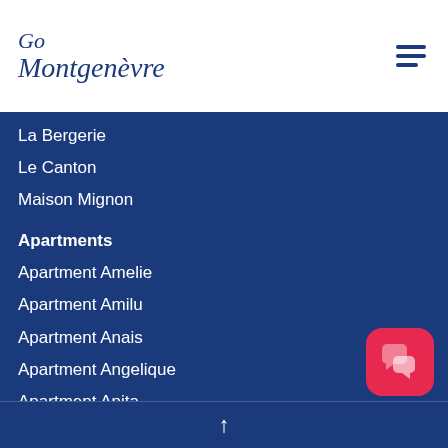[Figure (logo): Go Montgenèvre logo in dark blue italic script font]
La Bergerie
Le Canton
Maison Mignon
Apartments
Apartment Amelie
Apartment Amilu
Apartment Anais
Apartment Angelique
Apartment Apita
Apartment Ariel
Apartment Camille
Apartment Catherine
Apartment Chaberton 101
Apartment Daniela
Apartment Elise
Apartment Elizabeth (partial)